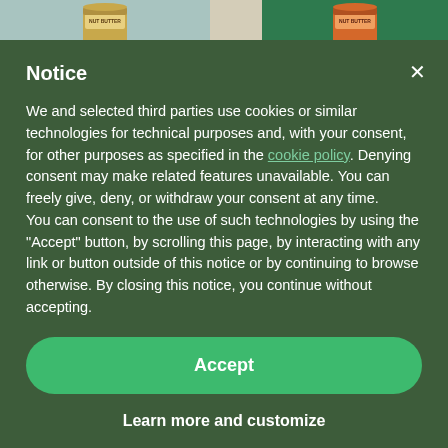[Figure (screenshot): Top banner showing two nut butter product jars on colored backgrounds (teal/blue on the left, green on the right) with a beige divider strip in the middle.]
Notice
We and selected third parties use cookies or similar technologies for technical purposes and, with your consent, for other purposes as specified in the cookie policy. Denying consent may make related features unavailable. You can freely give, deny, or withdraw your consent at any time.
You can consent to the use of such technologies by using the "Accept" button, by scrolling this page, by interacting with any link or button outside of this notice or by continuing to browse otherwise. By closing this notice, you continue without accepting.
Accept
Learn more and customize